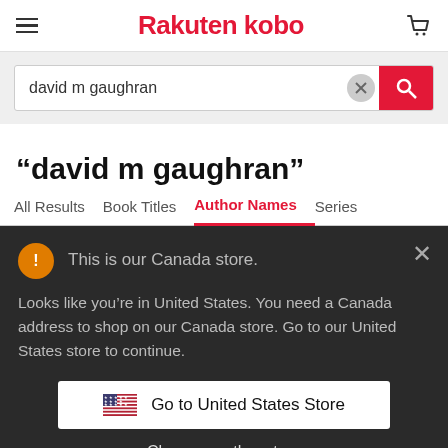[Figure (logo): Rakuten Kobo logo with hamburger menu and cart icon in header]
david m gaughran
“david m gaughran”
All Results   Book Titles   Author Names   Series
This is our Canada store.
Looks like you're in United States. You need a Canada address to shop on our Canada store. Go to our United States store to continue.
Go to United States Store
Choose another store